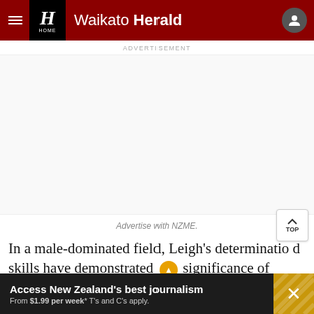Waikato Herald
ADVERTISEMENT
Advertise with NZME.
In a male-dominated field, Leigh's determination and skills have demonstrated significance of women
Access New Zealand's best journalism From $1.99 per week* T's and C's apply.